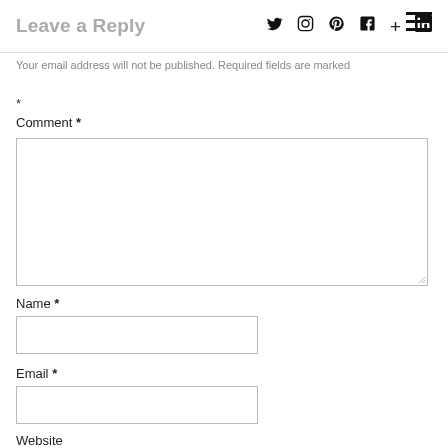Leave a Reply — social icons: Twitter, Instagram, Pinterest, Facebook, Plus, LinkedIn — hamburger menu
Your email address will not be published. Required fields are marked
*
Comment *
Name *
Email *
Website